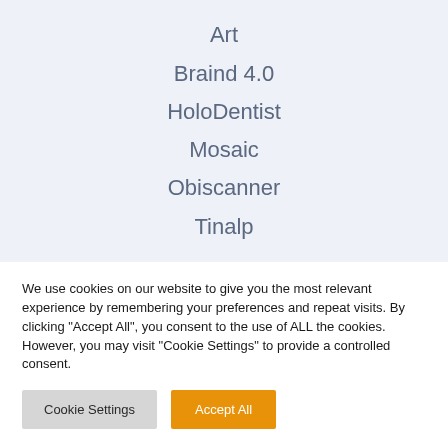Art
Braind 4.0
HoloDentist
Mosaic
Obiscanner
Tinalp
We use cookies on our website to give you the most relevant experience by remembering your preferences and repeat visits. By clicking "Accept All", you consent to the use of ALL the cookies. However, you may visit "Cookie Settings" to provide a controlled consent.
Cookie Settings | Accept All